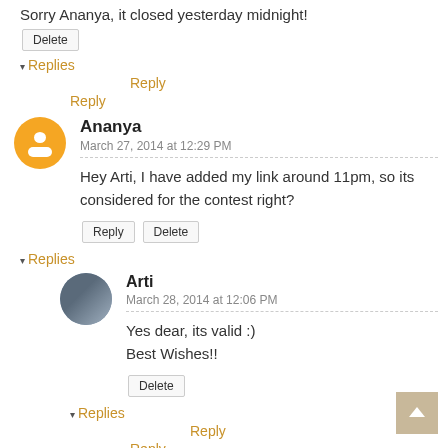Sorry Ananya, it closed yesterday midnight!
Delete
▾ Replies
Reply
Reply
Ananya
March 27, 2014 at 12:29 PM
Hey Arti, I have added my link around 11pm, so its considered for the contest right?
Reply  Delete
▾ Replies
Arti
March 28, 2014 at 12:06 PM
Yes dear, its valid :)
Best Wishes!!
Delete
▾ Replies
Reply
Reply